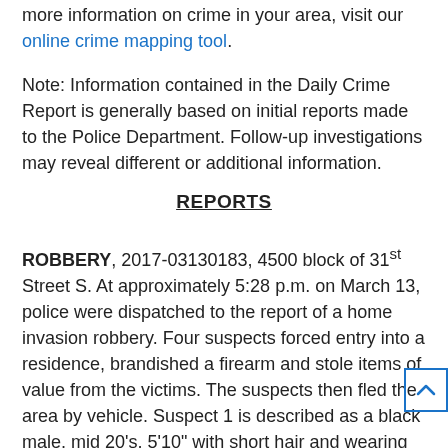more information on crime in your area, visit our online crime mapping tool.
Note: Information contained in the Daily Crime Report is generally based on initial reports made to the Police Department. Follow-up investigations may reveal different or additional information.
REPORTS
ROBBERY, 2017-03130183, 4500 block of 31st Street S. At approximately 5:28 p.m. on March 13, police were dispatched to the report of a home invasion robbery. Four suspects forced entry into a residence, brandished a firearm and stole items of value from the victims. The suspects then fled the area by vehicle. Suspect 1 is described as a black male, mid 20's, 5'10" with short hair and wearing blue jeans and a dark t-shirt. Suspect 2 is described as a Hispanic male, in his 20's, 6'0" with long